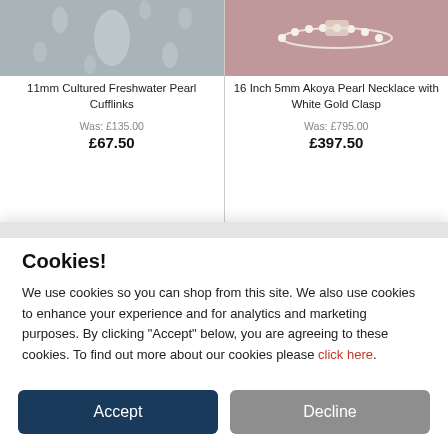[Figure (photo): Product image of 11mm Cultured Freshwater Pearl Cufflinks on grey perforated background]
11mm Cultured Freshwater Pearl Cufflinks
Was: £135.00
£67.50
[Figure (photo): Product image of 16 Inch 5mm Akoya Pearl Necklace with White Gold Clasp on pink background]
16 Inch 5mm Akoya Pearl Necklace with White Gold Clasp
Was: £795.00
£397.50
Cookies!
We use cookies so you can shop from this site. We also use cookies to enhance your experience and for analytics and marketing purposes. By clicking "Accept" below, you are agreeing to these cookies. To find out more about our cookies please click here.
Accept
Decline